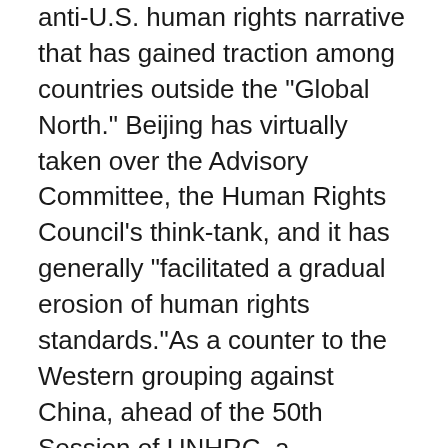anti-U.S. human rights narrative that has gained traction among countries outside the "Global North." Beijing has virtually taken over the Advisory Committee, the Human Rights Council's think-tank, and it has generally "facilitated a gradual erosion of human rights standards."As a counter to the Western grouping against China, ahead of the 50th Session of UNHRC, a representative from Cuba made a "joint speech, on behalf of 70 countries, to oppose using human rights as excuses to interfere with China's internal affairs, saying that human rights issues should not be used as political